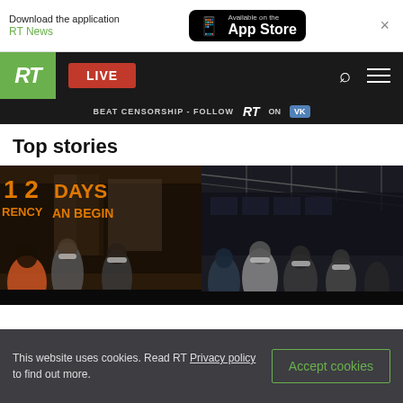Download the application RT News — Available on the App Store
[Figure (screenshot): RT website navigation bar with green RT logo, red LIVE button, search and menu icons, and Beat Censorship - Follow RT on VK banner]
Top stories
[Figure (photo): Two-panel photo of masked people in an urban setting with orange signage reading '1 2 DAYS RENCY AN BEGIN']
This website uses cookies. Read RT Privacy policy to find out more.
Accept cookies